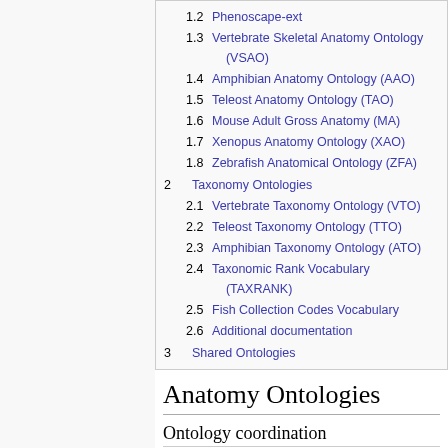1.2 Phenoscape-ext
1.3 Vertebrate Skeletal Anatomy Ontology (VSAO)
1.4 Amphibian Anatomy Ontology (AAO)
1.5 Teleost Anatomy Ontology (TAO)
1.6 Mouse Adult Gross Anatomy (MA)
1.7 Xenopus Anatomy Ontology (XAO)
1.8 Zebrafish Anatomical Ontology (ZFA)
2 Taxonomy Ontologies
2.1 Vertebrate Taxonomy Ontology (VTO)
2.2 Teleost Taxonomy Ontology (TTO)
2.3 Amphibian Taxonomy Ontology (ATO)
2.4 Taxonomic Rank Vocabulary (TAXRANK)
2.5 Fish Collection Codes Vocabulary
2.6 Additional documentation
3 Shared Ontologies
Anatomy Ontologies
Ontology coordination